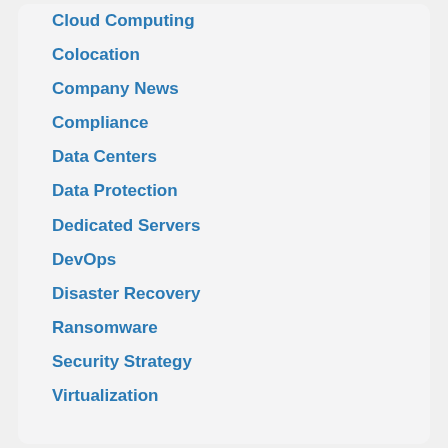Cloud Computing
Colocation
Company News
Compliance
Data Centers
Data Protection
Dedicated Servers
DevOps
Disaster Recovery
Ransomware
Security Strategy
Virtualization